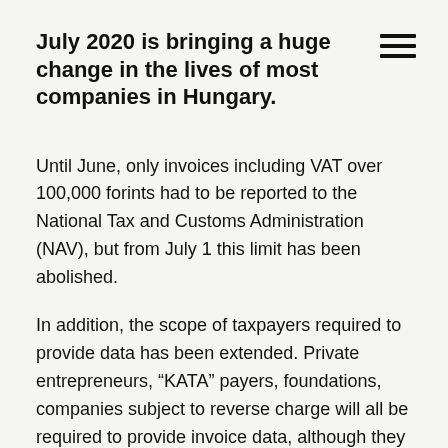July 2020 is bringing a huge change in the lives of most companies in Hungary.
Until June, only invoices including VAT over 100,000 forints had to be reported to the National Tax and Customs Administration (NAV), but from July 1 this limit has been abolished.
In addition, the scope of taxpayers required to provide data has been extended. Private entrepreneurs, “KATA” payers, foundations, companies subject to reverse charge will all be required to provide invoice data, although they